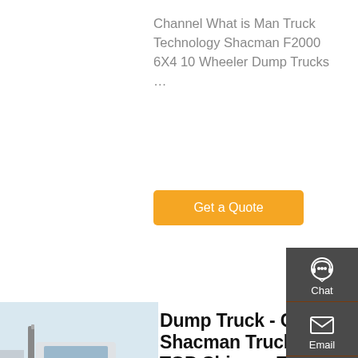Channel What is Man Truck Technology Shacman F2000 6X4 10 Wheeler Dump Trucks …
Get a Quote
[Figure (photo): Rear view of a Shacman heavy-duty truck in a yard with other trucks]
Dump Truck - China Shacman Trucks, TOP Chinese Truck Exporter, Get China Shacman Trucks …
Dump Truck,Shacman.org.cn is Exporting china trucks and construction machinery for 13 years. Famous Chinese truck